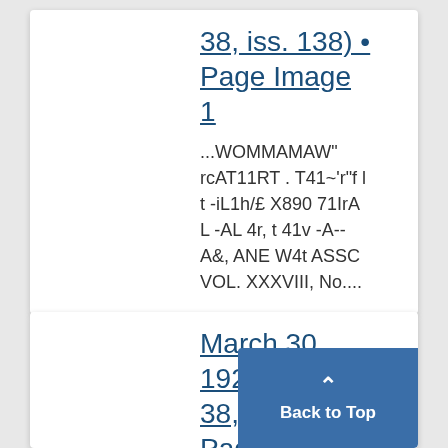38, iss. 138) • Page Image 1
...WOMMAMAW" rcAT11RT . T41~'r"f l t -iL1h/£ X890 71IrA L -AL 4r, t 41v -A-- A&, ANE W4t ASSC VOL. XXXVIII, No....
March 30, 1928 (vol. 38, iss. 138) • Page Image 1